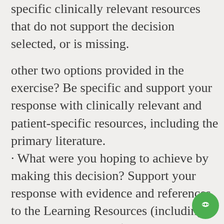specific clinically relevant resources that do not support the decision selected, or is missing.
other two options provided in the exercise? Be specific and support your response with clinically relevant and patient-specific resources, including the primary literature.
• What were you hoping to achieve by making this decision? Support your response with evidence and references to the Learning Resources (including the primary literature).
• Explain how ethical considerations may impact your treatment plan and communication with patients